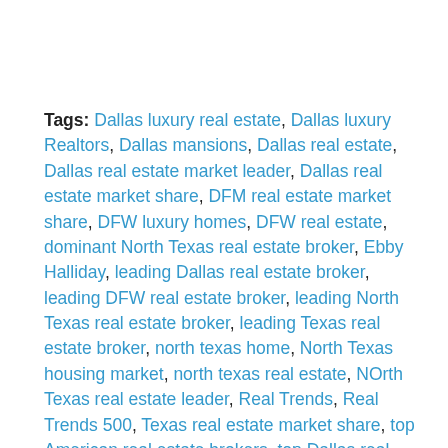Tags: Dallas luxury real estate, Dallas luxury Realtors, Dallas mansions, Dallas real estate, Dallas real estate market leader, Dallas real estate market share, DFM real estate market share, DFW luxury homes, DFW real estate, dominant North Texas real estate broker, Ebby Halliday, leading Dallas real estate broker, leading DFW real estate broker, leading North Texas real estate broker, leading Texas real estate broker, north texas home, North Texas housing market, north texas real estate, NOrth Texas real estate leader, Real Trends, Real Trends 500, Texas real estate market share, top American real estate brokers, top Dallas real estate broker, top Dallas real estate brokers, top Dallas Realtors, top DFW real estate